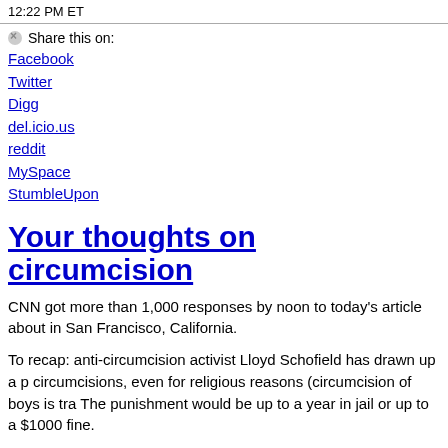12:22 PM ET
⊗Share this on:
Facebook
Twitter
Digg
del.icio.us
reddit
MySpace
StumbleUpon
Your thoughts on circumcision
CNN got more than 1,000 responses by noon to today's article about in San Francisco, California.
To recap: anti-circumcision activist Lloyd Schofield has drawn up a p circumcisions, even for religious reasons (circumcision of boys is tra The punishment would be up to a year in jail or up to a $1000 fine.
Our reader comments, mostly passionate toward one view or another split as a whole on the question of whether or not to circumcise.
Some of you men out there are glad to have been circumcised as infa of its health benefits. Says jake1969: